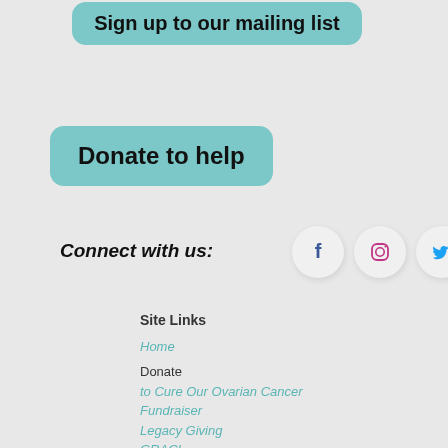Sign up to our mailing list
Donate to help
Connect with us:
[Figure (illustration): Social media icons for Facebook, Instagram, and Twitter in circular white buttons]
Site Links
Home
Donate to Cure Our Ovarian Cancer Fundraiser
Legacy Giving
GRACI
About
Ovarian Cancer
Our Organisation
Our Charity Partners
Ovarian Cancer Symptoms